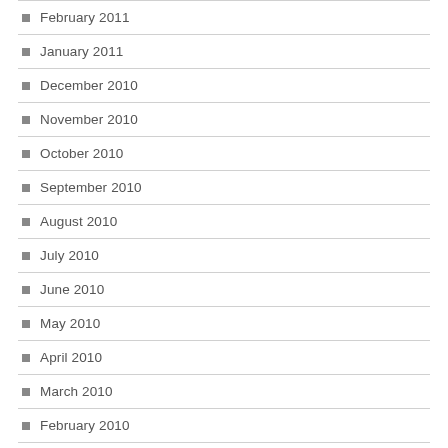February 2011
January 2011
December 2010
November 2010
October 2010
September 2010
August 2010
July 2010
June 2010
May 2010
April 2010
March 2010
February 2010
January 2010